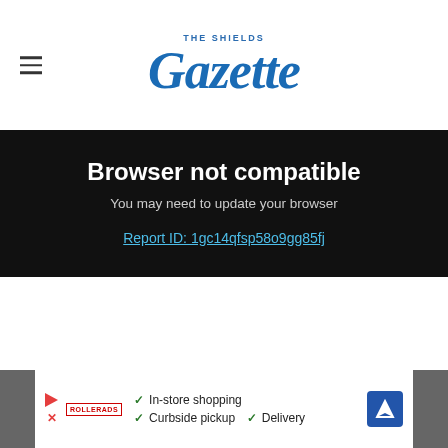THE SHIELDS Gazette
Browser not compatible
You may need to update your browser
Report ID: 1gc14qfsp58o9gg85fj
[Figure (screenshot): Advertisement bar at bottom showing In-store shopping, Curbside pickup, Delivery options with a navigation icon]